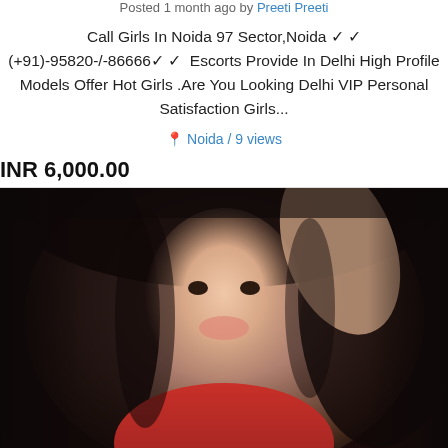Posted 1 month ago by Preeti Preeti
Call Girls In Noida 97 Sector,Noida ✓ ✓ (+91)-95820-/-86666✓ ✓  Escorts Provide In Delhi High Profile Models Offer Hot Girls .Are You Looking Delhi VIP Personal Satisfaction Girls...
Noida / 9 views
INR 6,000.00
[Figure (photo): Portrait photo of a young woman with long dark hair, wearing a red outfit, posed with one arm raised behind her head, smiling.]